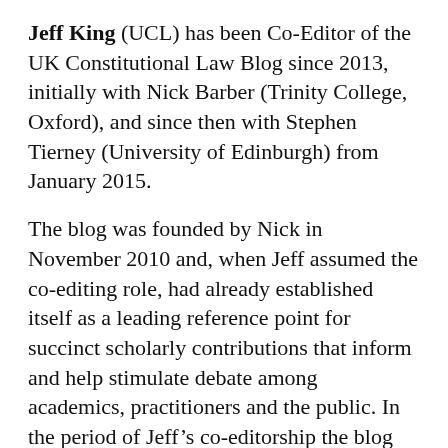Jeff King (UCL) has been Co-Editor of the UK Constitutional Law Blog since 2013, initially with Nick Barber (Trinity College, Oxford), and since then with Stephen Tierney (University of Edinburgh) from January 2015.
The blog was founded by Nick in November 2010 and, when Jeff assumed the co-editing role, had already established itself as a leading reference point for succinct scholarly contributions that inform and help stimulate debate among academics, practitioners and the public. In the period of Jeff’s co-editorship the blog has continued to grow from strength to strength. We have now had more than 2,700,000 hits and over 11,000 people are signed up for email notification of new posts. The blog is frequently referenced in textbooks, parliamentary debates, committee